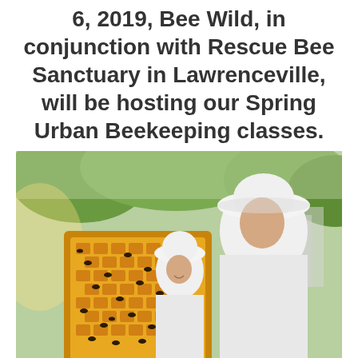6, 2019, Bee Wild, in conjunction with Rescue Bee Sanctuary in Lawrenceville, will be hosting our Spring Urban Beekeeping classes.
[Figure (photo): A beekeeping instructor in white protective suit and hat shows a honeycomb frame covered with bees to a child also wearing a protective beekeeping suit, outdoors with trees and buildings in background.]